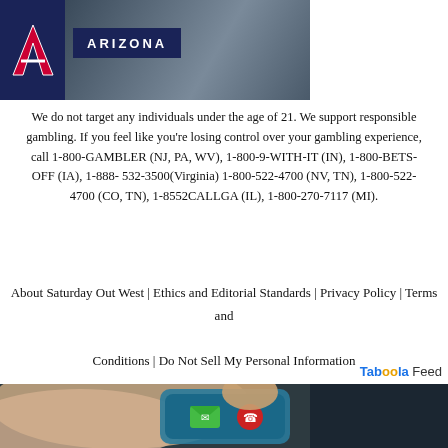[Figure (logo): University of Arizona logo with dark blue background, red 'A' letter mark and 'ARIZONA' text, with football player photo to the right]
We do not target any individuals under the age of 21. We support responsible gambling. If you feel like you're losing control over your gambling experience, call 1-800-GAMBLER (NJ, PA, WV), 1-800-9-WITH-IT (IN), 1-800-BETS-OFF (IA), 1-888- 532-3500(Virginia) 1-800-522-4700 (NV, TN), 1-800-522-4700 (CO, TN), 1-8552CALLGA (IL), 1-800-270-7117 (MI).
About Saturday Out West | Ethics and Editorial Standards | Privacy Policy | Terms and Conditions | Do Not Sell My Personal Information
[Figure (other): Taboola Feed logo with 'Tab' in blue, 'oo' with orange double-o, 'la Feed' in dark]
[Figure (photo): Close-up photo of a person's finger pressing a phone screen showing message and call icons]